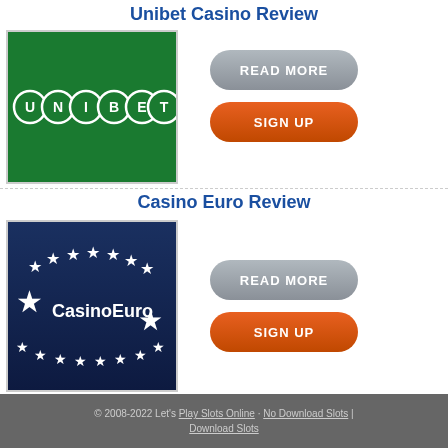Unibet Casino Review
[Figure (logo): Unibet logo: green background with UNIBET letters on circular white-bordered badges]
READ MORE
SIGN UP
Casino Euro Review
[Figure (logo): CasinoEuro logo: dark blue background with stars and CasinoEuro text]
READ MORE
SIGN UP
© 2008-2022 Let's Play Slots Online · No Download Slots | Download Slots